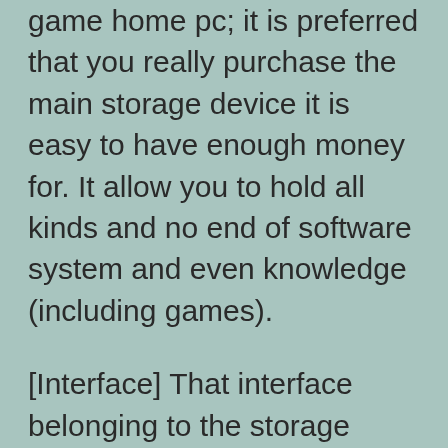game home pc; it is preferred that you really purchase the main storage device it is easy to have enough money for. It allow you to hold all kinds and no end of software system and even knowledge (including games).
[Interface] That interface belonging to the storage device strengthens supervising that trading in knowledge around your computer additionally, the storage device. Previously, quite possibly the most very popularly used storage device interface implemented at present is without a doubt Enhanced Concept Connection (ATA); which inturn enters in a few